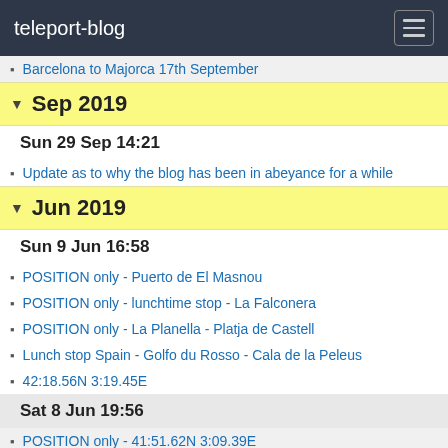teleport-blog
Barcelona to Majorca 17th September
Sep 2019
Sun 29 Sep 14:21
Update as to why the blog has been in abeyance for a while
Jun 2019
Sun 9 Jun 16:58
POSITION only - Puerto de El Masnou
POSITION only - lunchtime stop - La Falconera
POSITION only - La Planella - Platja de Castell
Lunch stop Spain - Golfo du Rosso - Cala de la Peleus
42:18.56N 3:19.45E
Sat 8 Jun 19:56
POSITION only - 41:51.62N 3:09.39E
Thu 6 Jun 15:35
POSITION only . - Port Vendres
Wed 5 Jun 15:18